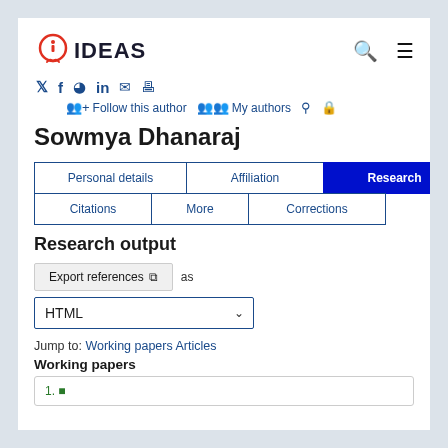[Figure (logo): IDEAS logo — red circle with i/lightbulb icon and blue IDEAS text]
Follow this author  My authors
Sowmya Dhanaraj
Personal details | Affiliation | Research | Citations | More | Corrections
Research output
Export references  as
HTML
Jump to: Working papers Articles
Working papers